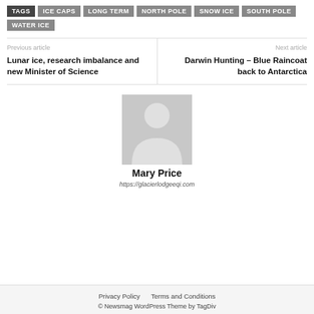TAGS  ICE CAPS  LONG TERM  NORTH POLE  SNOW ICE  SOUTH POLE  WATER ICE
Previous article
Lunar ice, research imbalance and new Minister of Science
Next article
Darwin Hunting – Blue Raincoat back to Antarctica
[Figure (photo): Generic user avatar placeholder — grey silhouette of a person on grey background]
Mary Price
https://glacierlodgeeqi.com
Privacy Policy   Terms and Conditions
© Newsmag WordPress Theme by TagDiv